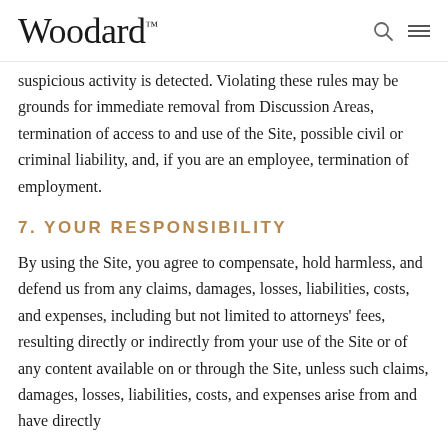Woodard™
suspicious activity is detected. Violating these rules may be grounds for immediate removal from Discussion Areas, termination of access to and use of the Site, possible civil or criminal liability, and, if you are an employee, termination of employment.
7. YOUR RESPONSIBILITY
By using the Site, you agree to compensate, hold harmless, and defend us from any claims, damages, losses, liabilities, costs, and expenses, including but not limited to attorneys' fees, resulting directly or indirectly from your use of the Site or of any content available on or through the Site, unless such claims, damages, losses, liabilities, costs, and expenses arise from and have directly